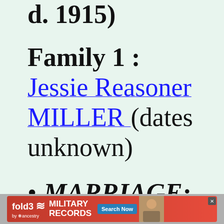d. 1915)
Family 1 : Jessie Reasoner MILLER (dates unknown)
MARRIAGE:
[Figure (other): fold3 by Ancestry advertisement banner for Military Records with Search Now button]